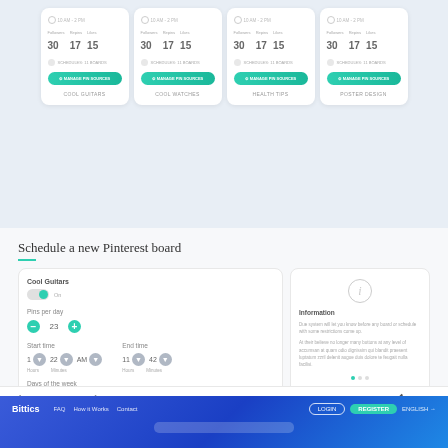[Figure (screenshot): Four Pinterest board cards (Cool Guitars, Cool Watches, Health Tips, Poster Design) each showing follower/repin/like stats (30/17/15), schedule info, and a teal Manage Pin Sources button. Light blue background.]
Schedule a new Pinterest board
[Figure (screenshot): Pinterest scheduling form UI with Cool Guitars board name, toggle on, Pins per day spinner, Start time and End time spinners, Days of the week selector (Thursday highlighted), and an Information side panel with dots indicator.]
by Creativepixels
23
[Figure (screenshot): Bittics website header/nav bar with blue gradient background, logo, FAQ/How it Works/Contact links, Login and Register buttons, English language selector, and a search bar.]